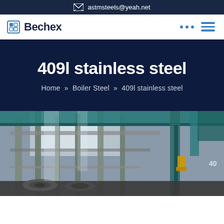astmsteels@yeah.net
[Figure (logo): Bechex logo with square icon and navigation icons (dots and hamburger menu)]
409l stainless steel
Home » Boiler Steel » 409l stainless steel
[Figure (photo): Industrial steel factory interior showing structural steel columns, overhead crane, and steel coils on the floor]